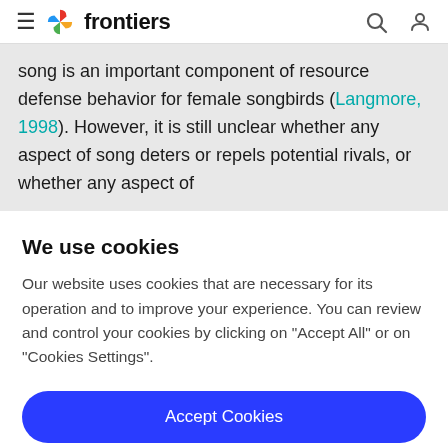frontiers
song is an important component of resource defense behavior for female songbirds (Langmore, 1998). However, it is still unclear whether any aspect of song deters or repels potential rivals, or whether any aspect of
We use cookies
Our website uses cookies that are necessary for its operation and to improve your experience. You can review and control your cookies by clicking on "Accept All" or on "Cookies Settings".
Accept Cookies
Cookies Settings